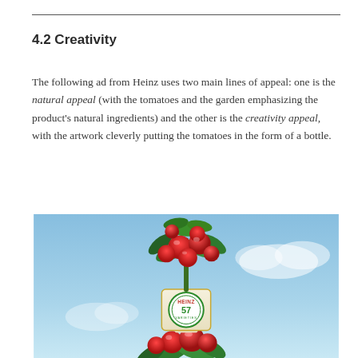4.2 Creativity
The following ad from Heinz uses two main lines of appeal: one is the natural appeal (with the tomatoes and the garden emphasizing the product's natural ingredients) and the other is the creativity appeal, with the artwork cleverly putting the tomatoes in the form of a bottle.
[Figure (photo): Heinz 57 advertisement showing tomatoes arranged in the shape of a ketchup bottle against a blue sky background. A Heinz 57 Varieties label is visible in the middle of the tomato-bottle shape, with lush tomato plants and red tomatoes forming the top and bottom of the bottle silhouette.]